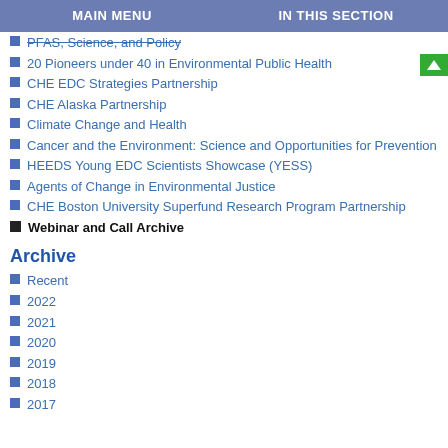MAIN MENU | IN THIS SECTION
PFAS, Science, and Policy (strikethrough)
20 Pioneers under 40 in Environmental Public Health
CHE EDC Strategies Partnership
CHE Alaska Partnership
Climate Change and Health
Cancer and the Environment: Science and Opportunities for Prevention
HEEDS Young EDC Scientists Showcase (YESS)
Agents of Change in Environmental Justice
CHE Boston University Superfund Research Program Partnership
Webinar and Call Archive
Archive
Recent
2022
2021
2020
2019
2018
2017